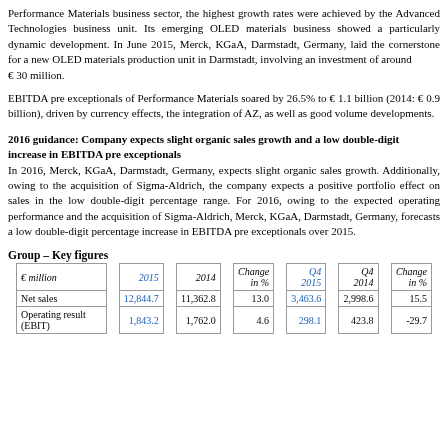Performance Materials business sector, the highest growth rates were achieved by the Advanced Technologies business unit. Its emerging OLED materials business showed a particularly dynamic development. In June 2015, Merck, KGaA, Darmstadt, Germany, laid the cornerstone for a new OLED materials production unit in Darmstadt, involving an investment of around € 30 million.
EBITDA pre exceptionals of Performance Materials soared by 26.5% to € 1.1 billion (2014: € 0.9 billion), driven by currency effects, the integration of AZ, as well as good volume developments.
2016 guidance: Company expects slight organic sales growth and a low double-digit increase in EBITDA pre exceptionals
In 2016, Merck, KGaA, Darmstadt, Germany, expects slight organic sales growth. Additionally, owing to the acquisition of Sigma-Aldrich, the company expects a positive portfolio effect on sales in the low double-digit percentage range. For 2016, owing to the expected operating performance and the acquisition of Sigma-Aldrich, Merck, KGaA, Darmstadt, Germany, forecasts a low double-digit percentage increase in EBITDA pre exceptionals over 2015.
Group – Key figures
| € million |  | 2015 |  | 2014 |  | Change in % |  | Q4 2015 |  | Q4 2014 |  | Change in % |
| --- | --- | --- | --- | --- | --- | --- | --- | --- | --- | --- | --- | --- |
| Net sales |  | 12,844.7 |  | 11,362.8 |  | 13.0 |  | 3,463.6 |  | 2,998.6 |  | 15.5 |
| Operating result (EBIT) |  | 1,843.2 |  | 1,762.0 |  | 4.6 |  | 298.1 |  | 423.8 |  | -29.7 |